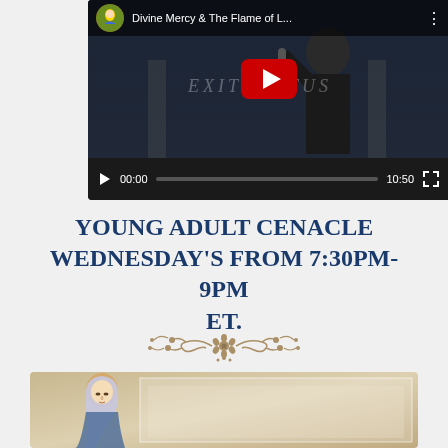[Figure (screenshot): YouTube video player showing 'Divine Mercy & The Flame of L...' with a man in black speaking into a microphone. Shows channel icon (Mary image), video title, three-dot menu, dark video frame with watermark text 'EXITUS ...TUS', large red YouTube play button in center, and bottom controls showing play button, 00:00 timestamp, scrubber bar, 10:50 duration, and fullscreen button.]
YOUNG ADULT CENACLE WEDNESDAY'S FROM 7:30PM-9PM ET.
[Figure (illustration): Partial view of an illustration of the Virgin Mary (woman in head covering, looking downward) against a stone/marble background with an inner frame border visible.]